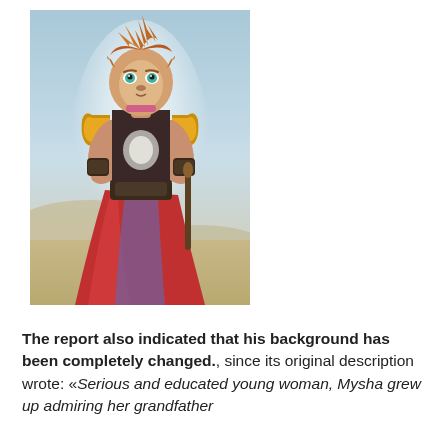[Figure (illustration): Illustrated anthropomorphic lion-like female character with spiky orange-brown hair, teal eyes, wearing golden armor on shoulders, red flowing skirt/robe, dark bracers, holding a weapon, set against a light blue-grey sandy background. Appears to be a video game character art.]
The report also indicated that his background has been completely changed., since its original description wrote: «Serious and educated young woman, Mysha grew up admiring her grandfather